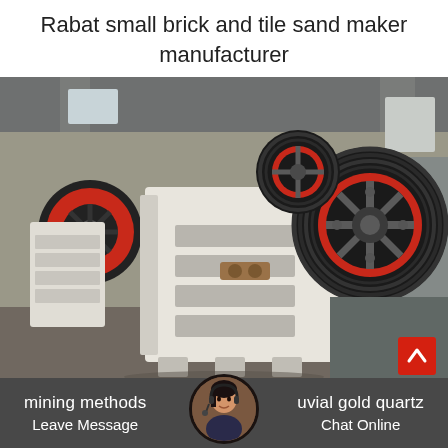Rabat small brick and tile sand maker manufacturer
[Figure (photo): Industrial jaw crusher machine photographed in a factory/warehouse setting. Large white-painted heavy machinery with black and red flywheel pulleys visible. Industrial building interior with steel structure in background.]
mining methods alluvial gold quartz
Leave Message   Chat Online